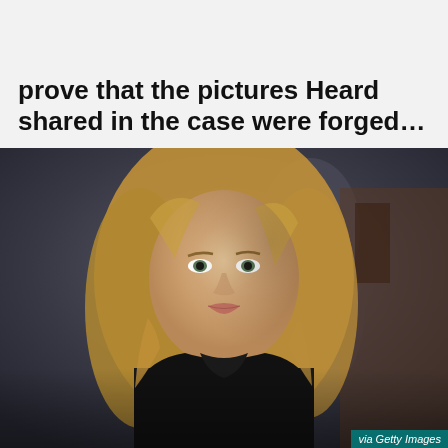prove that the pictures Heard shared in the case were forged…
[Figure (photo): Amber Heard, a blonde woman in a black outfit, standing outdoors with her hand placed on her chest. Another person is visible in the background. Photo credited via Getty Images.]
via Getty Images